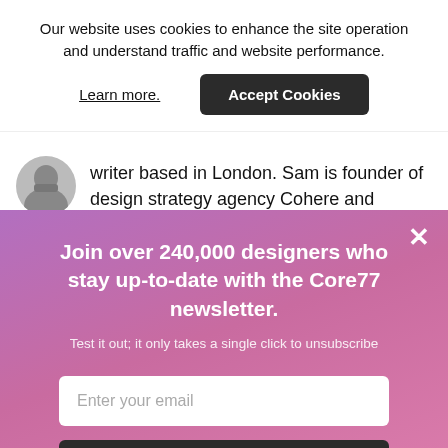Our website uses cookies to enhance the site operation and understand traffic and website performance.
Learn more.
Accept Cookies
writer based in London. Sam is founder of design strategy agency Cohere and
[Figure (photo): Circular avatar of a man with a beard, in black and white]
× (close button)
Join over 240,000 designers who stay up-to-date with the Core77 newsletter.
Test it out; it only takes a single click to unsubscribe
Enter your email
Subscribe